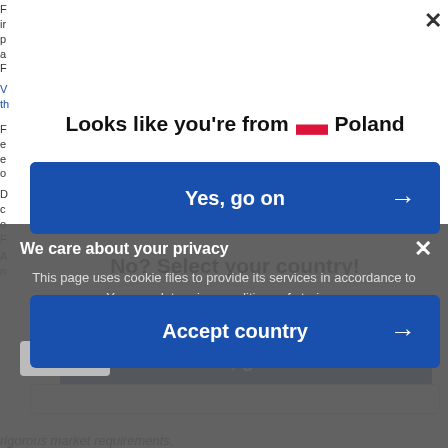F
ir
p
a
F
V
th
F
e
e
o
D
c
o
F
Looks like you're from Poland
Yes, go on →
No? Select your country!
Accept country →
We care about your privacy
This page uses cookie files to provide its services in accordance to . You can determine conditions of storing or access to cookie files in your web browser.
Close
rigorous market requirements.